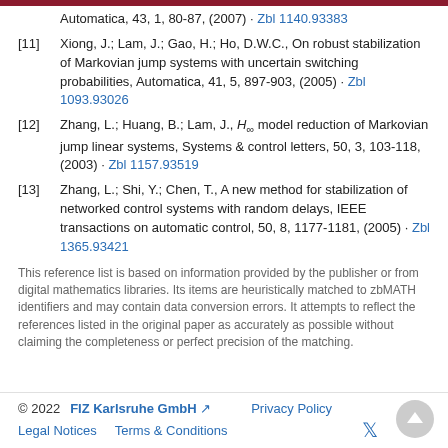Automatica, 43, 1, 80-87, (2007) · Zbl 1140.93383
[11] Xiong, J.; Lam, J.; Gao, H.; Ho, D.W.C., On robust stabilization of Markovian jump systems with uncertain switching probabilities, Automatica, 41, 5, 897-903, (2005) · Zbl 1093.93026
[12] Zhang, L.; Huang, B.; Lam, J., H∞ model reduction of Markovian jump linear systems, Systems & control letters, 50, 3, 103-118, (2003) · Zbl 1157.93519
[13] Zhang, L.; Shi, Y.; Chen, T., A new method for stabilization of networked control systems with random delays, IEEE transactions on automatic control, 50, 8, 1177-1181, (2005) · Zbl 1365.93421
This reference list is based on information provided by the publisher or from digital mathematics libraries. Its items are heuristically matched to zbMATH identifiers and may contain data conversion errors. It attempts to reflect the references listed in the original paper as accurately as possible without claiming the completeness or perfect precision of the matching.
© 2022  FIZ Karlsruhe GmbH  Privacy Policy  Legal Notices  Terms & Conditions